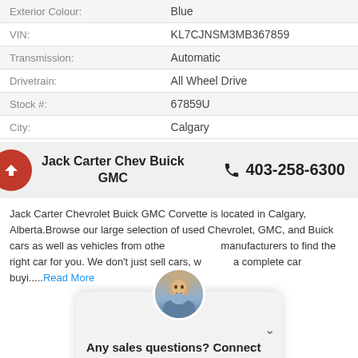| Field | Value |
| --- | --- |
| Exterior Colour: | Blue |
| VIN: | KL7CJNSM3MB367859 |
| Transmission: | Automatic |
| Drivetrain: | All Wheel Drive |
| Stock #: | 67859U |
| City: | Calgary |
Jack Carter Chev Buick GMC    403-258-6300
Jack Carter Chevrolet Buick GMC Corvette is located in Calgary, Alberta.Browse our large selection of used Chevrolet, GMC, and Buick cars as well as vehicles from other manufacturers to find the right car for you. We don't just sell cars, we offer a complete car buyi.....Read More
Any sales questions? Connect with us now!
TEXT   CHAT